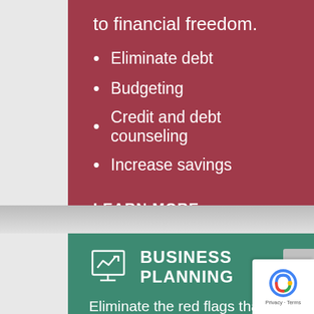to financial freedom.
Eliminate debt
Budgeting
Credit and debt counseling
Increase savings
LEARN MORE
BUSINESS PLANNING
Eliminate the red flags that are stifling your business' growth.
Operating above the red